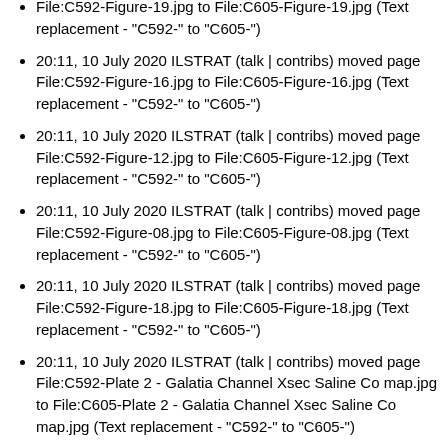File:C592-Figure-19.jpg to File:C605-Figure-19.jpg (Text replacement - "C592-" to "C605-")
20:11, 10 July 2020 ILSTRAT (talk | contribs) moved page File:C592-Figure-16.jpg to File:C605-Figure-16.jpg (Text replacement - "C592-" to "C605-")
20:11, 10 July 2020 ILSTRAT (talk | contribs) moved page File:C592-Figure-12.jpg to File:C605-Figure-12.jpg (Text replacement - "C592-" to "C605-")
20:11, 10 July 2020 ILSTRAT (talk | contribs) moved page File:C592-Figure-08.jpg to File:C605-Figure-08.jpg (Text replacement - "C592-" to "C605-")
20:11, 10 July 2020 ILSTRAT (talk | contribs) moved page File:C592-Figure-18.jpg to File:C605-Figure-18.jpg (Text replacement - "C592-" to "C605-")
20:11, 10 July 2020 ILSTRAT (talk | contribs) moved page File:C592-Plate 2 - Galatia Channel Xsec Saline Co map.jpg to File:C605-Plate 2 - Galatia Channel Xsec Saline Co map.jpg (Text replacement - "C592-" to "C605-")
20:11, 10 July 2020 ILSTRAT (talk | contribs) moved page File:C592-Figure-22.jpg to File:C605-Figure-22.jpg (Text replacement - "C592-" to "C605-")